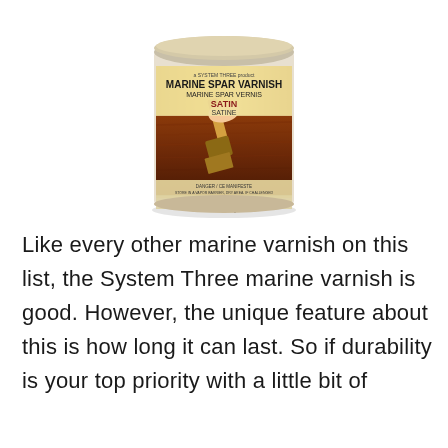[Figure (photo): A can of System Three Marine Spar Varnish (Marine Spar Vernis), Satin/Satine finish, 946mL / 1 QT. The can label shows a hand holding a paintbrush applying varnish to wood. The label is gold/amber colored with black and red text.]
Like every other marine varnish on this list, the System Three marine varnish is good. However, the unique feature about this is how long it can last. So if durability is your top priority with a little bit of